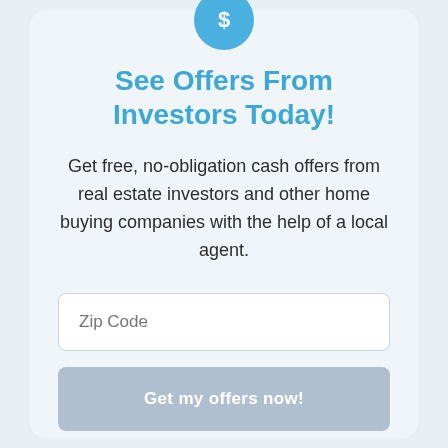[Figure (illustration): Blue circle icon with a white dollar sign symbol at the top of the card]
See Offers From Investors Today!
Get free, no-obligation cash offers from real estate investors and other home buying companies with the help of a local agent.
Zip Code (input field placeholder)
Get my offers now! (button)